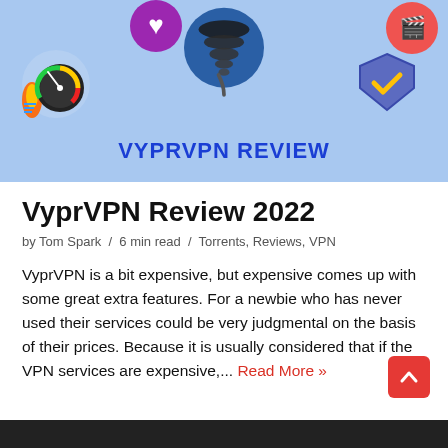[Figure (illustration): VyprVPN Review banner image with light blue background, featuring a tornado/VPN logo in the center, a speedometer with flame icon on the left, a shield with checkmark on the right, a purple circle top-left, and a film icon top-right. Text reads VYPRVPN REVIEW in bold dark blue.]
VyprVPN Review 2022
by Tom Spark / 6 min read / Torrents, Reviews, VPN
VyprVPN is a bit expensive, but expensive comes up with some great extra features. For a newbie who has never used their services could be very judgmental on the basis of their prices. Because it is usually considered that if the VPN services are expensive,... Read More »